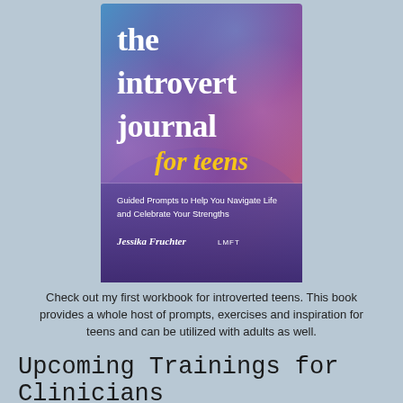[Figure (illustration): Book cover of 'the introvert journal for teens' by Jessika Fruchter, LMFT. Cover has a purple-blue gradient background with the title in large white serif font, 'for teens' in gold italic cursive, and subtitle 'Guided Prompts to Help You Navigate Life and Celebrate Your Strengths'.]
Check out my first workbook for introverted teens. This book provides a whole host of prompts, exercises and inspiration for teens and can be utilized with adults as well.
Upcoming Trainings for Clinicians